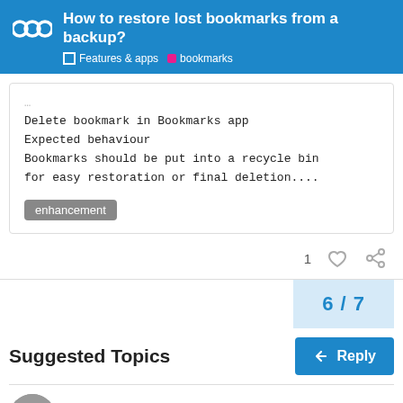How to restore lost bookmarks from a backup? | Features & apps | bookmarks
Delete bookmark in Bookmarks app
Expected behaviour
Bookmarks should be put into a recycle bin for easy restoration or final deletion....
enhancement
1
6 / 7
Reply
Suggested Topics
Bookmarks App problem
bookmarks
6
Feb 18